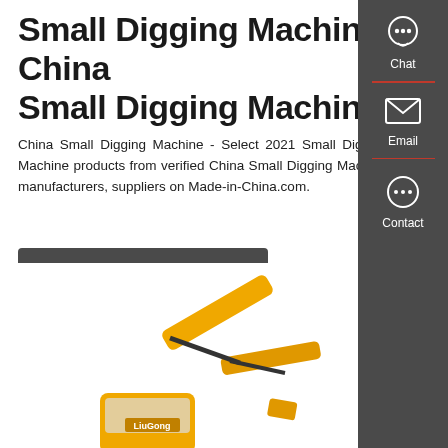Small Digging Machine-China Small Digging Machine
China Small Digging Machine - Select 2021 Small Digging Machine products from verified China Small Digging Machine manufacturers, suppliers on Made-in-China.com.
[Figure (other): Dark grey button labeled Get a Quote]
[Figure (photo): Yellow LiuGong mini excavator / small digging machine on white background, showing arm, boom and undercarriage]
[Figure (infographic): Dark grey sidebar panel on the right with three contact options: Chat (speech bubble icon), Email (envelope icon), Contact (speech bubble with dots icon), separated by red divider lines]